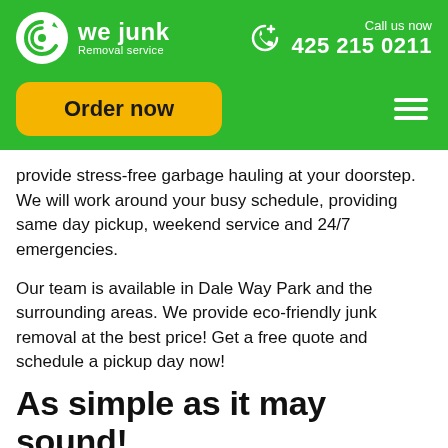we junk Removal service | Call us now 425 215 0211
Order now
provide stress-free garbage hauling at your doorstep. We will work around your busy schedule, providing same day pickup, weekend service and 24/7 emergencies.
Our team is available in Dale Way Park and the surrounding areas. We provide eco-friendly junk removal at the best price! Get a free quote and schedule a pickup day now!
As simple as it may sound!
call 425 215 0211
or